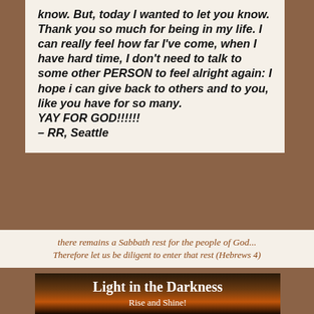know. But, today I wanted to let you know. Thank you so much for being in my life. I can really feel how far I've come, when I have hard time, I don't need to talk to some other PERSON to feel alright again: I hope i can give back to others and to you, like you have for so many.
YAY FOR GOD!!!!!!
– RR, Seattle
there remains a Sabbath rest for the people of God... Therefore let us be diligent to enter that rest (Hebrews 4)
[Figure (photo): Dark landscape photo with orange sunset sky, overlaid with white bold text reading 'Light in the Darkness' and smaller text 'Rise and Shine!' below]